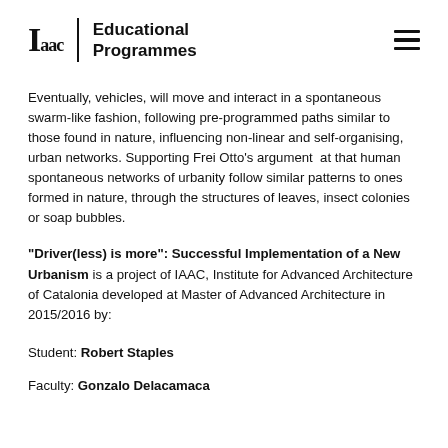Iaac | Educational Programmes
Eventually, vehicles, will move and interact in a spontaneous swarm-like fashion, following pre-programmed paths similar to those found in nature, influencing non-linear and self-organising, urban networks. Supporting Frei Otto’s argument  at that human spontaneous networks of urbanity follow similar patterns to ones formed in nature, through the structures of leaves, insect colonies or soap bubbles.
“Driver(less) is more”: Successful Implementation of a New Urbanism is a project of IAAC, Institute for Advanced Architecture of Catalonia developed at Master of Advanced Architecture in 2015/2016 by:
Student: Robert Staples
Faculty: Gonzalo Delacamaca